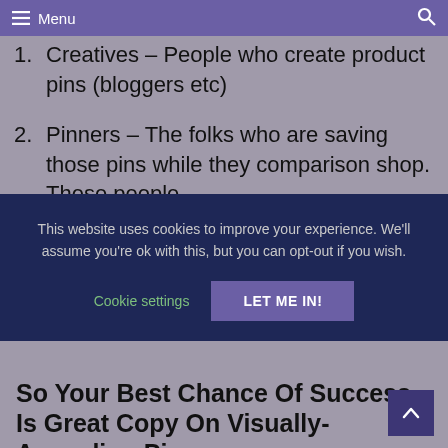Menu
1. Creatives – People who create product pins (bloggers etc)
2. Pinners – The folks who are saving those pins while they comparison shop. These people
This website uses cookies to improve your experience. We'll assume you're ok with this, but you can opt-out if you wish.
Cookie settings  LET ME IN!
So Your Best Chance Of Success Is Great Copy On Visually-Appealing Pins.
Some helpful statistics if you're on the